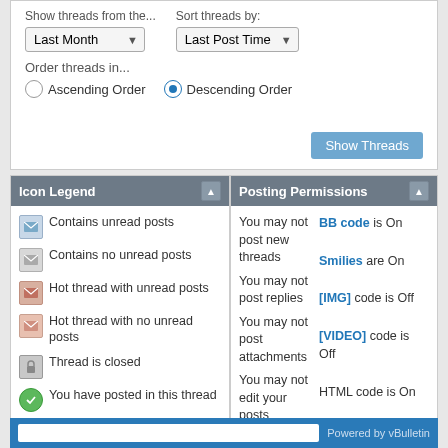Show threads from the...
Sort threads by:
Last Month
Last Post Time
Order threads in...
Ascending Order
Descending Order
Show Threads
Icon Legend
Contains unread posts
Contains no unread posts
Hot thread with unread posts
Hot thread with no unread posts
Thread is closed
You have posted in this thread
Posting Permissions
You may not post new threads
You may not post replies
You may not post attachments
You may not edit your posts
BB code is On
Smilies are On
[IMG] code is Off
[VIDEO] code is Off
HTML code is On
Forum Rules